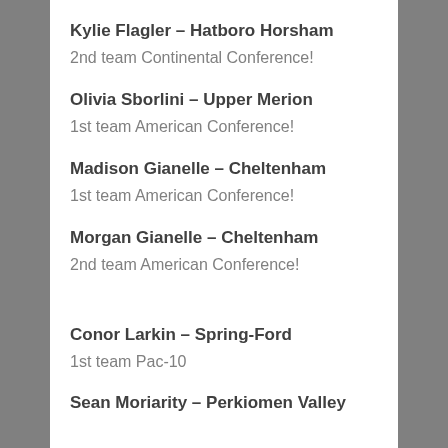Kylie Flagler – Hatboro Horsham
2nd team Continental Conference!
Olivia Sborlini – Upper Merion
1st team American Conference!
Madison Gianelle – Cheltenham
1st team American Conference!
Morgan Gianelle – Cheltenham
2nd team American Conference!
Conor Larkin – Spring-Ford
1st team Pac-10
Sean Moriarity – Perkiomen Valley